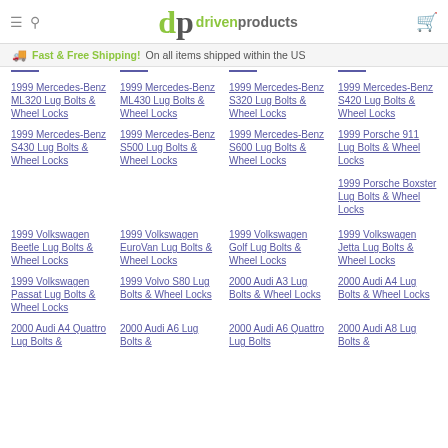dp drivenproducts
Fast & Free Shipping! On all items shipped within the US
1999 Mercedes-Benz ML320 Lug Bolts & Wheel Locks
1999 Mercedes-Benz ML430 Lug Bolts & Wheel Locks
1999 Mercedes-Benz S320 Lug Bolts & Wheel Locks
1999 Mercedes-Benz S420 Lug Bolts & Wheel Locks
1999 Mercedes-Benz S430 Lug Bolts & Wheel Locks
1999 Mercedes-Benz S500 Lug Bolts & Wheel Locks
1999 Mercedes-Benz S600 Lug Bolts & Wheel Locks
1999 Porsche 911 Lug Bolts & Wheel Locks
1999 Porsche Boxster Lug Bolts & Wheel Locks
1999 Volkswagen Beetle Lug Bolts & Wheel Locks
1999 Volkswagen EuroVan Lug Bolts & Wheel Locks
1999 Volkswagen Golf Lug Bolts & Wheel Locks
1999 Volkswagen Jetta Lug Bolts & Wheel Locks
1999 Volkswagen Passat Lug Bolts & Wheel Locks
1999 Volvo S80 Lug Bolts & Wheel Locks
2000 Audi A3 Lug Bolts & Wheel Locks
2000 Audi A4 Lug Bolts & Wheel Locks
2000 Audi A4 Quattro Lug Bolts
2000 Audi A6 Lug Bolts &
2000 Audi A6 Quattro Lug Bolts
2000 Audi A8 Lug Bolts &